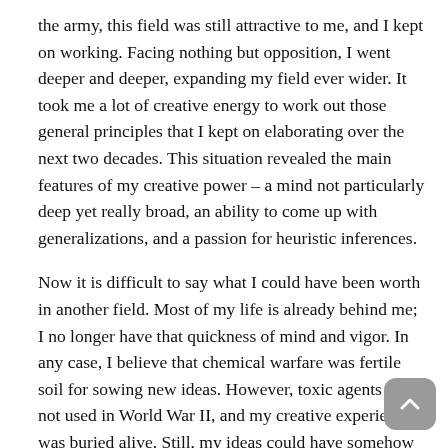the army, this field was still attractive to me, and I kept on working. Facing nothing but opposition, I went deeper and deeper, expanding my field ever wider. It took me a lot of creative energy to work out those general principles that I kept on elaborating over the next two decades. This situation revealed the main features of my creative power – a mind not particularly deep yet really broad, an ability to come up with generalizations, and a passion for heuristic inferences.
Now it is difficult to say what I could have been worth in another field. Most of my life is already behind me; I no longer have that quickness of mind and vigor. In any case, I believe that chemical warfare was fertile soil for sowing new ideas. However, toxic agents were not used in World War II, and my creative experience was buried alive. Still, my ideas could have somehow influenced that decision of the commanders of the opposing countries – the USSR and Germany – since my